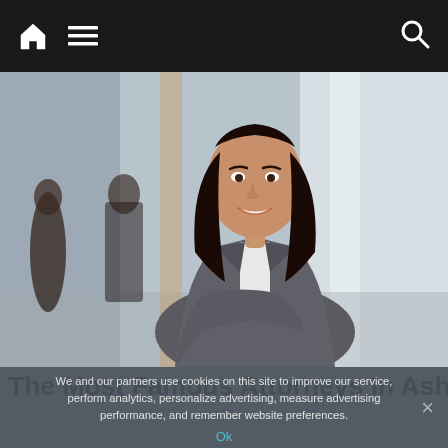Navigation bar with home icon, menu icon, and search icon
[Figure (photo): Professional female attorney in a grey blazer with arms crossed, smiling confidently in an office hallway. Two other people visible in the blurred background.]
The Most Famous Attorneys In Ashburn - See
We and our partners use cookies on this site to improve our service, perform analytics, personalize advertising, measure advertising performance, and remember website preferences.
Ok